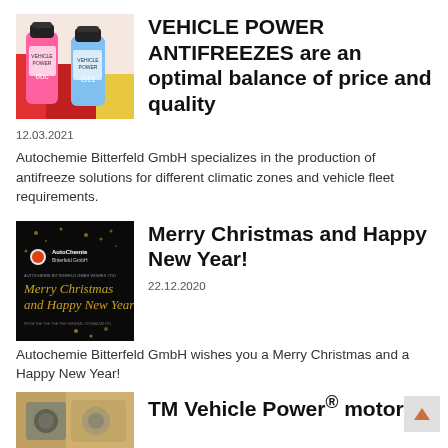[Figure (photo): Two bottles of vehicle power antifreeze solutions, one pink and one blue, on a colorful background]
VEHICLE POWER ANTIFREEZES are an optimal balance of price and quality
12.03.2021
Autochemie Bitterfeld GmbH specializes in the production of antifreeze solutions for different climatic zones and vehicle fleet requirements.
[Figure (photo): AutoChemie Bitterfeld GmbH Christmas greeting card with dark background and golden text saying Merry Christmas and Happy New Year]
Merry Christmas and Happy New Year!
22.12.2020
Autochemie Bitterfeld GmbH wishes you a Merry Christmas and a Happy New Year!
[Figure (photo): Partial view of a motor/engine component]
TM Vehicle Power® motor